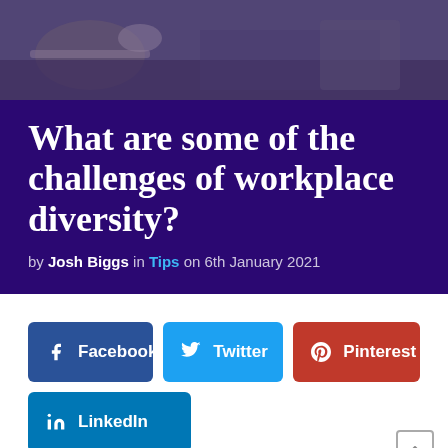[Figure (photo): A person sitting at a desk with an open book, coffee cup, and glasses visible. Dark overlay applied.]
What are some of the challenges of workplace diversity?
by Josh Biggs in Tips on 6th January 2021
[Figure (infographic): Social share buttons: Facebook, Twitter, Pinterest, LinkedIn]